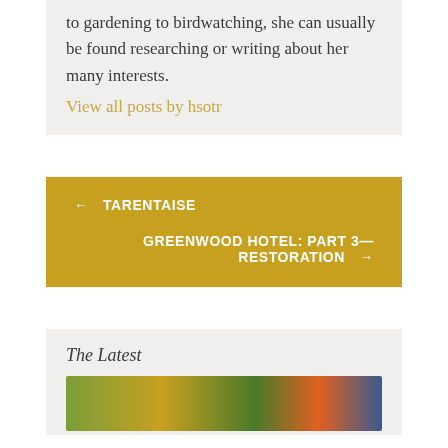to gardening to birdwatching, she can usually be found researching or writing about her many interests.
View all posts by hsotr
← TARENTAISE
GREENWOOD HOTEL: PART 3— RESTORATION →
The Latest